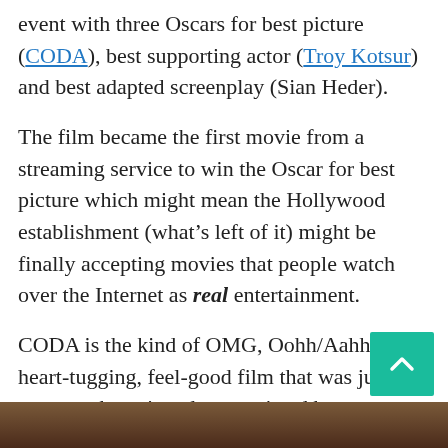event with three Oscars for best picture (CODA), best supporting actor (Troy Kotsur) and best adapted screenplay (Sian Heder).
The film became the first movie from a streaming service to win the Oscar for best picture which might mean the Hollywood establishment (what's left of it) might be finally accepting movies that people watch over the Internet as real entertainment.
CODA is the kind of OMG, Oohh/Aahh, heart-tugging, feel-good film that was just meant to be enjoyed, appreciated by youngsters and oldsters of all ages.
In other words, about 2/3 of the population.
[Figure (photo): Partial view of a photo at the bottom of the page, showing warm brown tones.]